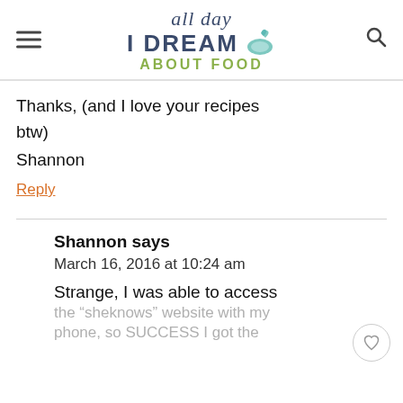all day I DREAM ABOUT FOOD
Thanks, (and I love your recipes btw)
Shannon
Reply
Shannon says
March 16, 2016 at 10:24 am
Strange, I was able to access the “sheknows” website with my phone, so SUCCESS I got the